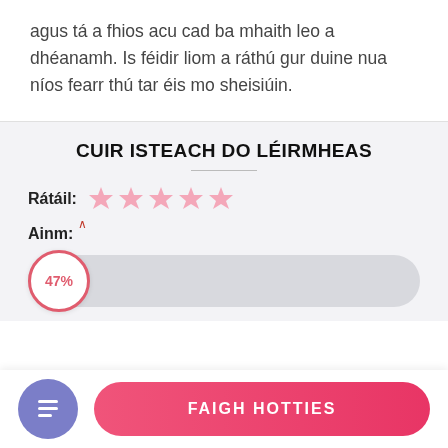agus tá a fhios acu cad ba mhaith leo a dhéanamh. Is féidir liom a ráthú gur duine nua níos fearr thú tar éis mo sheisiúin.
CUIR ISTEACH DO LÉIRMHEAS
Rátáil: ★★★★★
Ainm:
47%
FAIGH HOTTIES